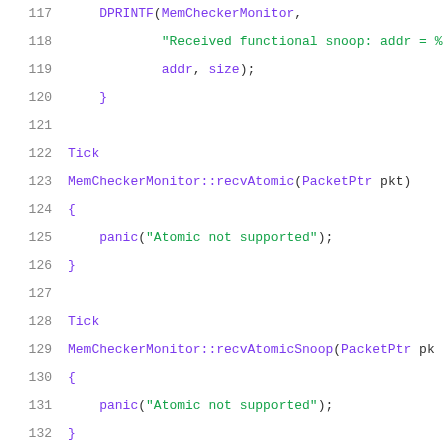117     DPRINTF(MemCheckerMonitor,
118             "Received functional snoop: addr = %
119             addr, size);
120     }
121
122     Tick
123     MemCheckerMonitor::recvAtomic(PacketPtr pkt)
124     {
125         panic("Atomic not supported");
126     }
127
128     Tick
129     MemCheckerMonitor::recvAtomicSnoop(PacketPtr pkt
130     {
131         panic("Atomic not supported");
132     }
133
134     bool
135     MemCheckerMonitor::recvTimingReq(PacketPtr pkt)
136     {
137         // should always see a request